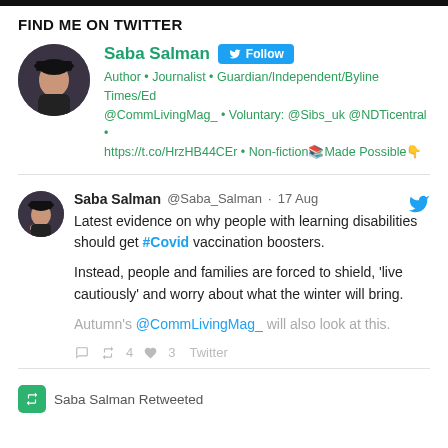FIND ME ON TWITTER
[Figure (other): Twitter profile card for Saba Salman with avatar, name, Follow button, and bio text]
[Figure (screenshot): Tweet by Saba Salman (@Saba_Salman) dated 17 Aug about learning disabilities and Covid vaccination boosters, with retweet 4 and like 3 counts]
Saba Salman Retweeted